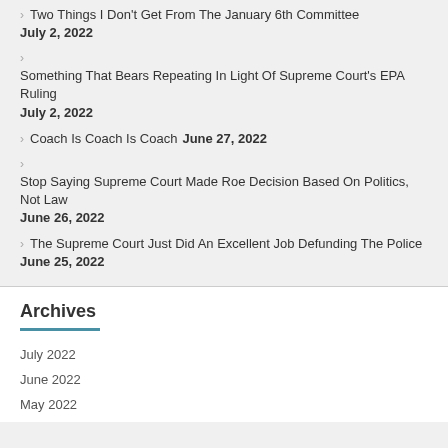Two Things I Don't Get From The January 6th Committee July 2, 2022
Something That Bears Repeating In Light Of Supreme Court's EPA Ruling July 2, 2022
Coach Is Coach Is Coach June 27, 2022
Stop Saying Supreme Court Made Roe Decision Based On Politics, Not Law June 26, 2022
The Supreme Court Just Did An Excellent Job Defunding The Police June 25, 2022
Archives
July 2022
June 2022
May 2022